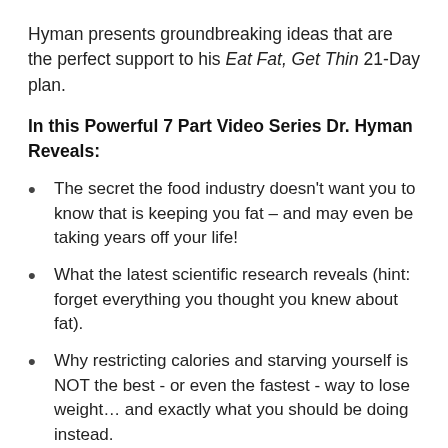Hyman presents groundbreaking ideas that are the perfect support to his Eat Fat, Get Thin 21-Day plan.
In this Powerful 7 Part Video Series Dr. Hyman Reveals:
The secret the food industry doesn't want you to know that is keeping you fat – and may even be taking years off your life!
What the latest scientific research reveals (hint: forget everything you thought you knew about fat).
Why restricting calories and starving yourself is NOT the best - or even the fastest - way to lose weight… and exactly what you should be doing instead.
The true cause of heart disease , diabetes, Alzheimer's, and more.
How to improve your cholesterol profile , blood sugar, insulin, inflammation, liver function AND lose weight